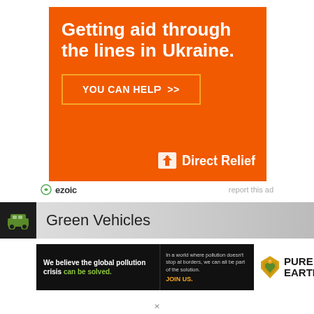[Figure (infographic): Direct Relief orange advertisement banner with text 'Getting aid through the lines in Ukraine.' and a 'YOU CAN HELP >>' button with Direct Relief logo]
ezoic   report this ad
[Figure (infographic): Green Vehicles section header with dark car icon on black background and striped grey background]
[Figure (infographic): Pure Earth advertisement with text 'We believe the global pollution crisis can be solved.' and 'JOIN US.' on dark background with Pure Earth logo]